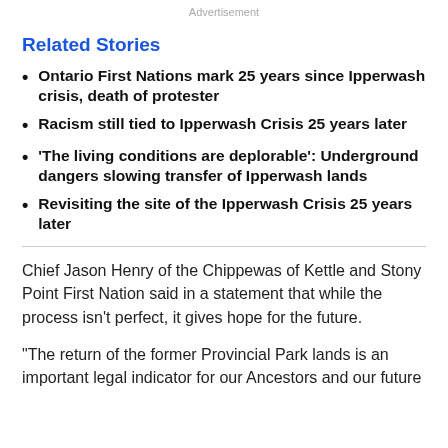Advertisement
Related Stories
Ontario First Nations mark 25 years since Ipperwash crisis, death of protester
Racism still tied to Ipperwash Crisis 25 years later
'The living conditions are deplorable': Underground dangers slowing transfer of Ipperwash lands
Revisiting the site of the Ipperwash Crisis 25 years later
Chief Jason Henry of the Chippewas of Kettle and Stony Point First Nation said in a statement that while the process isn't perfect, it gives hope for the future.
"The return of the former Provincial Park lands is an important legal indicator for our Ancestors and our future